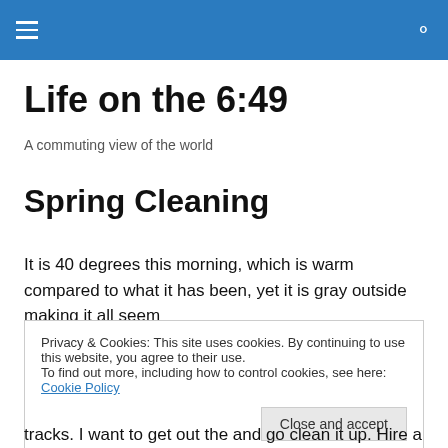≡  🔍
Life on the 6:49
A commuting view of the world
Spring Cleaning
It is 40 degrees this morning, which is warm compared to what it has been, yet it is gray outside making it all seem
Privacy & Cookies: This site uses cookies. By continuing to use this website, you agree to their use.
To find out more, including how to control cookies, see here: Cookie Policy
Close and accept
tracks.  I want to get out the and go clean it up.  Hire a bi